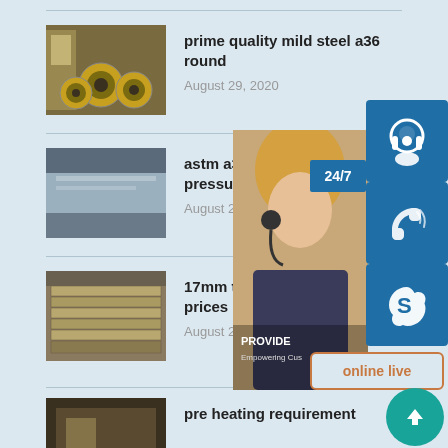[Figure (photo): Steel coils in a warehouse/factory setting]
prime quality mild steel a36 round
August 29, 2020
[Figure (photo): Flat steel sheet/plate]
astm a387 gr22 steel plate for pressure vessel
August 29, 2020
[Figure (photo): Stack of thick steel plates]
17mm thick q345 steel plate prices
August 29, 2020
[Figure (photo): Customer service representative with headset - partial view with UI overlay]
[Figure (photo): Factory/industrial photo - fourth article thumbnail (partial)]
pre heating requirement